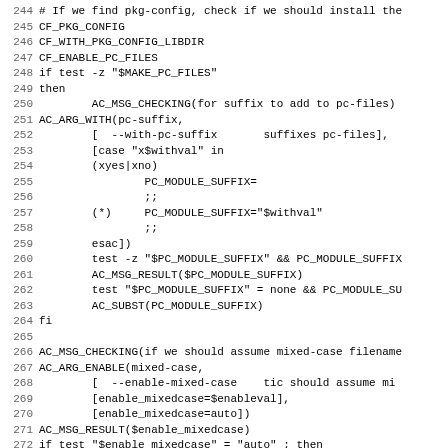Code listing lines 244-275, shell/autoconf script source code